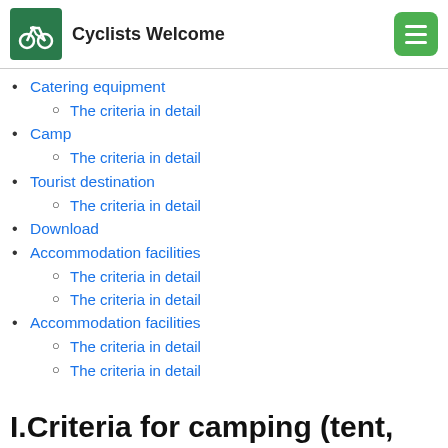Cyclists Welcome
Catering equipment
The criteria in detail
Camp
The criteria in detail
Tourist destination
The criteria in detail
Download
Accommodation facilities
The criteria in detail
The criteria in detail
Accommodation facilities
The criteria in detail
The criteria in detail
I.Criteria for camping (tent,